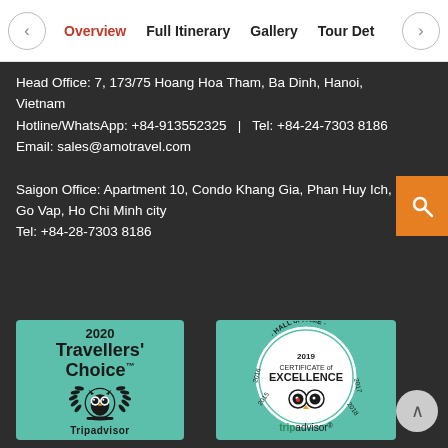Overview | Full Itinerary | Gallery | Tour Det
Head Office: 7, 173/75 Hoang Hoa Tham, Ba Dinh, Hanoi, Vietnam
Hotline/WhatsApp: +84-913552325   |   Tel: +84-24-7303 8186
Email: sales@amotravel.com

Saigon Office: Apartment 10, Condo Khang Gia, Phan Huy Ich, Go Vap, Ho Chi Minh city
Tel: +84-28-7303 8186
[Figure (logo): TripAdvisor 2020 Travellers' Choice badge with owl logo on green background]
[Figure (logo): TripAdvisor 2019 Certificate of Excellence Hall of Fame badge on green background]